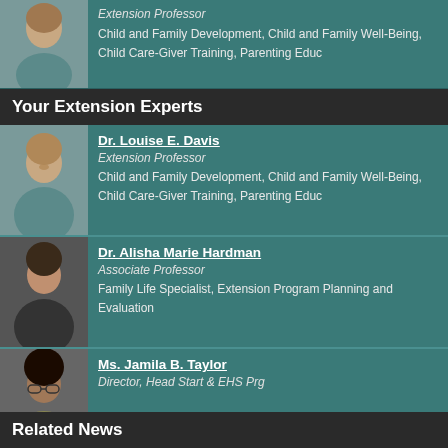[Figure (photo): Photo of Dr. Louise E. Davis (partial view at top)]
Extension Professor
Child and Family Development, Child and Family Well-Being, Child Care-Giver Training, Parenting Educ
Your Extension Experts
[Figure (photo): Photo of Dr. Louise E. Davis]
Dr. Louise E. Davis
Extension Professor
Child and Family Development, Child and Family Well-Being, Child Care-Giver Training, Parenting Educ
[Figure (photo): Photo of Dr. Alisha Marie Hardman]
Dr. Alisha Marie Hardman
Associate Professor
Family Life Specialist, Extension Program Planning and Evaluation
[Figure (photo): Photo of Ms. Jamila B. Taylor]
Ms. Jamila B. Taylor
Director, Head Start & EHS Prg
Related News